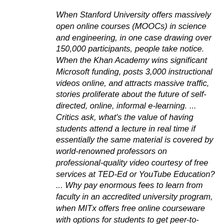When Stanford University offers massively open online courses (MOOCs) in science and engineering, in one case drawing over 150,000 participants, people take notice. When the Khan Academy wins significant Microsoft funding, posts 3,000 instructional videos online, and attracts massive traffic, stories proliferate about the future of self-directed, online, informal e-learning. ... Critics ask, what's the value of having students attend a lecture in real time if essentially the same material is covered by world-renowned professors on professional-quality video courtesy of free services at TED-Ed or YouTube Education? ... Why pay enormous fees to learn from faculty in an accredited university program, when MITx offers free online courseware with options for students to get peer-to-peer and professor feedback, assessment and earn branded certificates of achievement? What is the return on investment for students (and perhaps their parents) opting to earn their credentials at a